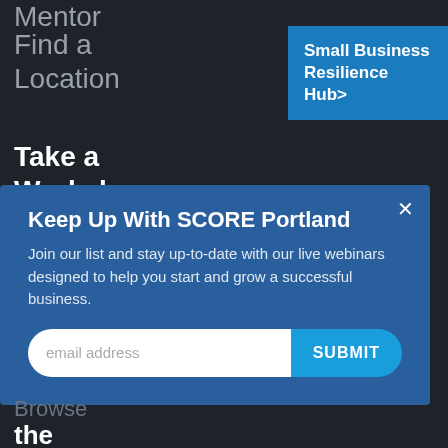Mentor
Find a Location
Small Business Resilience Hub>
Take a Workshop
Keep Up With SCORE Portland
Join our list and stay up-to-date with our live webinars designed to help you start and grow a successful business.
email address
SUBMIT
Browse the Library
Starting